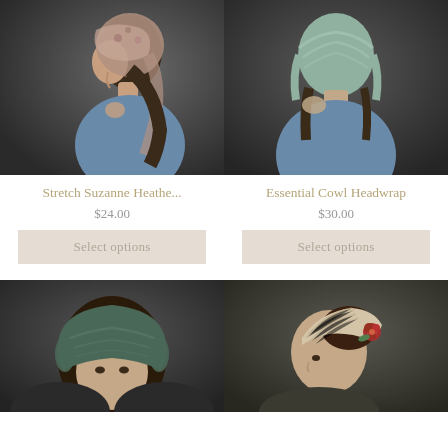[Figure (photo): Woman wearing a floral headscarfin profile view, dark background, denim jacket]
[Figure (photo): Woman wearing a sage green cowl headwrap viewed from behind, dark background, denim jacket]
Stretch Suzanne Heathe...
$24.00
Select options
Essential Cowl Headwrap
$30.00
Select options
[Figure (photo): Woman wearing a teal/dark green wide headwrap, front-facing, dark background]
[Figure (photo): Woman wearing a beige striped headband with a red flower accent, updo hairstyle, profile view]